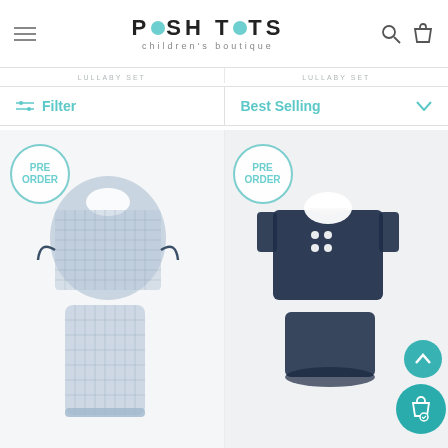POSH TOTS children's boutique
LULLABY SET
LULLABY SET
Filter
Best Selling
[Figure (photo): Light blue checkered children's outfit set with Peter Pan collar top and matching pants, PRE ORDER badge]
[Figure (photo): Navy blue children's outfit set with white Peter Pan collar top with buttons and matching shorts, PRE ORDER badge]